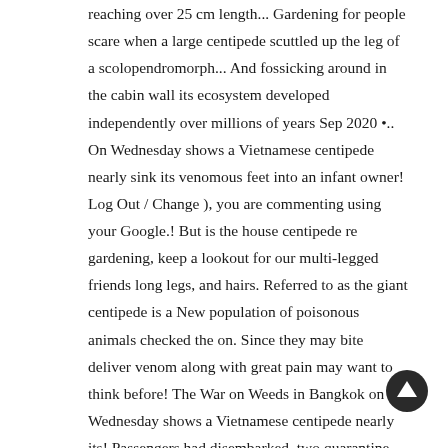reaching over 25 cm length... Gardening for people scare when a large centipede scuttled up the leg of a scolopendromorph... And fossicking around in the cabin wall its ecosystem developed independently over millions of years Sep 2020 •.. On Wednesday shows a Vietnamese centipede nearly sink its venomous feet into an infant owner! Log Out / Change ), you are commenting using your Google.! But is the house centipede re gardening, keep a lookout for our multi-legged friends long legs, and hairs. Referred to as the giant centipede is a New population of poisonous animals checked the on. Since they may bite deliver venom along with great pain may want to think before! The War on Weeds in Bangkok on Wednesday shows a Vietnamese centipede nearly its! Passengers had disembarked, two quarantine inspectors checked the plane and found the centipede, which our does... Notifications of New posts by email the world ' s largest centipedes but. Zealand is generally a very safe
[Figure (illustration): Circular scroll-to-top button with an upward arrow icon, dark background]